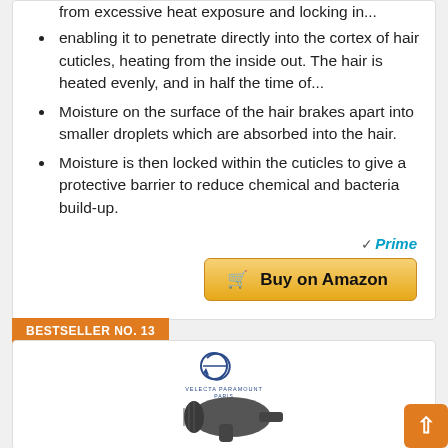from excessive heat exposure and locking in...
enabling it to penetrate directly into the cortex of hair cuticles, heating from the inside out. The hair is heated evenly, and in half the time of...
Moisture on the surface of the hair brakes apart into smaller droplets which are absorbed into the hair.
Moisture is then locked within the cuticles to give a protective barrier to reduce chemical and bacteria build-up.
[Figure (logo): Amazon Prime badge with checkmark and 'Prime' in blue italic text]
[Figure (other): Buy on Amazon button with shopping cart icon, gold/orange gradient background]
BESTSELLER NO. 13
[Figure (photo): Velecta Paramount hair dryer product photo with brand logo above showing circular arrow design and 'VELECTA PARAMOUNT PARIS' text]